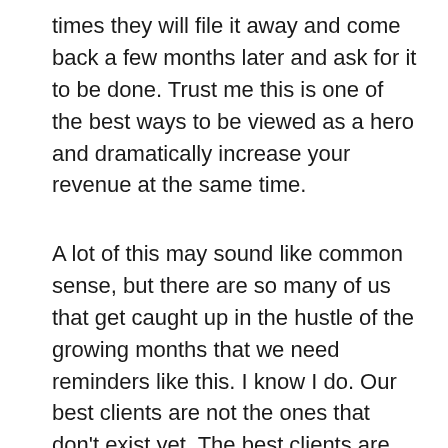times they will file it away and come back a few months later and ask for it to be done. Trust me this is one of the best ways to be viewed as a hero and dramatically increase your revenue at the same time.
A lot of this may sound like common sense, but there are so many of us that get caught up in the hustle of the growing months that we need reminders like this. I know I do. Our best clients are not the ones that don't exist yet. The best clients are the ones that we are already working for. So don't be afraid to get